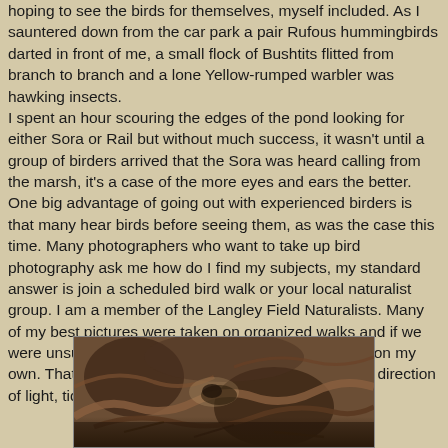hoping to see the birds for themselves, myself included. As I sauntered down from the car park a pair Rufous hummingbirds darted in front of me, a small flock of Bushtits flitted from branch to branch and a lone Yellow-rumped warbler was hawking insects. I spent an hour scouring the edges of the pond looking for either Sora or Rail but without much success, it wasn't until a group of birders arrived that the Sora was heard calling from the marsh, it's a case of the more eyes and ears the better. One big advantage of going out with experienced birders is that many hear birds before seeing them, as was the case this time. Many photographers who want to take up bird photography ask me how do I find my subjects, my standard answer is join a scheduled bird walk or your local naturalist group. I am a member of the Langley Field Naturalists. Many of my best pictures were taken on organized walks and if we were unsuccessful i'll often go back to the same spot on my own. That way I can chose the location depending on direction of light, tides, food availability and time of the year.
[Figure (photo): A bird photograph showing what appears to be a bird partially visible among branches and organic debris, likely taken in a marshy or woodland environment. The image has warm brown tones.]